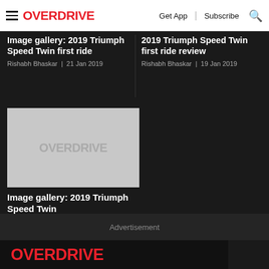OVERDRIVE | Get App | Subscribe
Image gallery: 2019 Triumph Speed Twin first ride
Rishabh Bhaskar | 21 Jan 2019
2019 Triumph Speed Twin first ride review
Rishabh Bhaskar | 19 Jan 2019
[Figure (logo): Overdrive logo placeholder image (grey background with OVERDRIVE watermark)]
Image gallery: 2019 Triumph Speed Twin
Tuhin Guha | 06 Dec 2018
Advertisement
OVERDRIVE